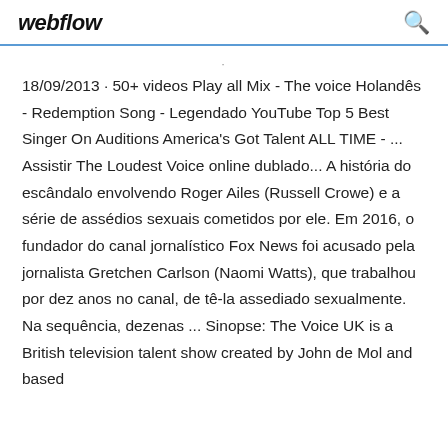webflow
18/09/2013 · 50+ videos Play all Mix - The voice Holandês - Redemption Song - Legendado YouTube Top 5 Best Singer On Auditions America's Got Talent ALL TIME - ... Assistir The Loudest Voice online dublado... A história do escândalo envolvendo Roger Ailes (Russell Crowe) e a série de assédios sexuais cometidos por ele. Em 2016, o fundador do canal jornalístico Fox News foi acusado pela jornalista Gretchen Carlson (Naomi Watts), que trabalhou por dez anos no canal, de tê-la assediado sexualmente. Na sequência, dezenas ... Sinopse: The Voice UK is a British television talent show created by John de Mol and based